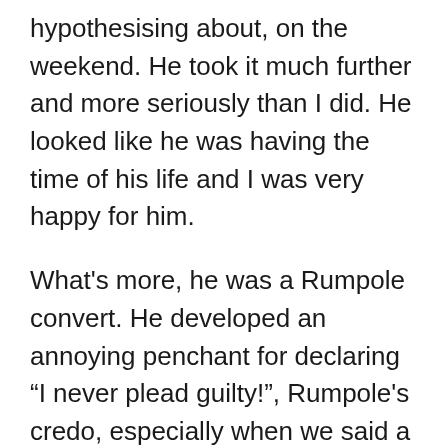hypothesising about, on the weekend. He took it much further and more seriously than I did. He looked like he was having the time of his life and I was very happy for him.
What's more, he was a Rumpole convert. He developed an annoying penchant for declaring “I never plead guilty!”, Rumpole's credo, especially when we said a case had no merits.
I think he did a variety of cases but early in his criminal practice career, I recall him having a particular interest and success in regard to sexual offence cases. He defended many. He had his fair share of success with them that